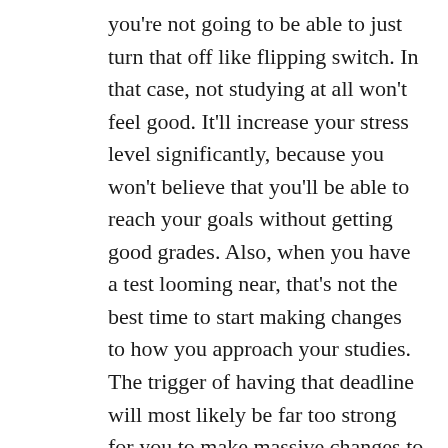you're not going to be able to just turn that off like flipping switch. In that case, not studying at all won't feel good. It'll increase your stress level significantly, because you won't believe that you'll be able to reach your goals without getting good grades. Also, when you have a test looming near, that's not the best time to start making changes to how you approach your studies. The trigger of having that deadline will most likely be far too strong for you to make massive changes to your belief system. So, even though theoretically, you could just focus on the end goal and that would line you up with the way to get there, practically speaking, you'll have an easier time working with the belief structure you already have, rather than fighting it, because the